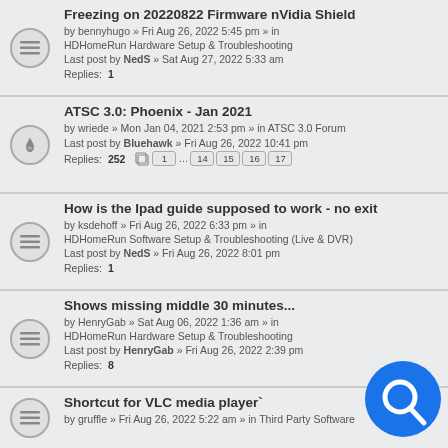Freezing on 20220822 Firmware nVidia Shield
by bennyhugo » Fri Aug 26, 2022 5:45 pm » in HDHomeRun Hardware Setup & Troubleshooting
Last post by NedS » Sat Aug 27, 2022 5:33 am
Replies: 1
ATSC 3.0: Phoenix - Jan 2021
by wriede » Mon Jan 04, 2021 2:53 pm » in ATSC 3.0 Forum
Last post by Bluehawk » Fri Aug 26, 2022 10:41 pm
Replies: 252  [pages: 1 ... 14 15 16 17]
How is the Ipad guide supposed to work - no exit
by ksdehoff » Fri Aug 26, 2022 6:33 pm » in HDHomeRun Software Setup & Troubleshooting (Live & DVR)
Last post by NedS » Fri Aug 26, 2022 8:01 pm
Replies: 1
Shows missing middle 30 minutes...
by HenryGab » Sat Aug 06, 2022 1:36 am » in HDHomeRun Hardware Setup & Troubleshooting
Last post by HenryGab » Fri Aug 26, 2022 2:39 pm
Replies: 8
Shortcut for VLC media player`
by gruffle » Fri Aug 26, 2022 5:22 am » in Third Party Software